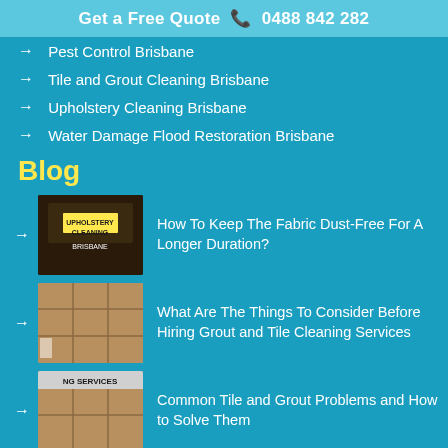Get a Free Quote 📞 0488 842 282
Pest Control Brisbane
Tile and Grout Cleaning Brisbane
Upholstery Cleaning Brisbane
Water Damage Flood Restoration Brisbane
Blog
How To Keep The Fabric Dust-Free For A Longer Duration?
What Are The Things To Consider Before Hiring Grout and Tile Cleaning Services
Common Tile and Grout Problems and How to Solve Them